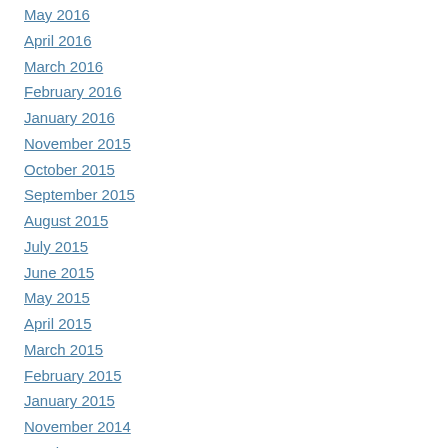May 2016
April 2016
March 2016
February 2016
January 2016
November 2015
October 2015
September 2015
August 2015
July 2015
June 2015
May 2015
April 2015
March 2015
February 2015
January 2015
November 2014
October 2014
September 2014